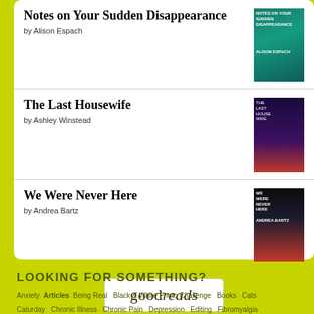Notes on Your Sudden Disappearance by Alison Espach
The Last Housewife by Ashley Winstead
We Were Never Here by Andrea Bartz
[Figure (logo): Goodreads logo in a rounded rectangle box]
LOOKING FOR SOMETHING?
Anxiety  Articles  Being Real  Black & White Photo Challenge  Books  Cats  Caturday  Chronic Illness  Chronic Pain  Depression  Editing  Fibromyalgia  Friends  Friendship  Full Moon  Health  Honesty  Humor  Images/Photos/Quotes  Inspiration  Life  Love  Mental Health